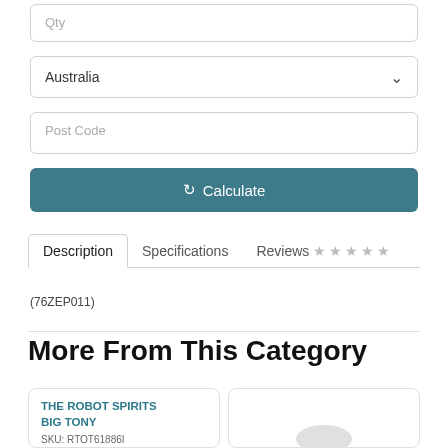Qty
Australia
Post Code
Calculate
Description   Specifications   Reviews ☆☆☆☆☆
(76ZEP011)
More From This Category
THE ROBOT SPIRITS BIG TONY
SKU: RTOT61886I